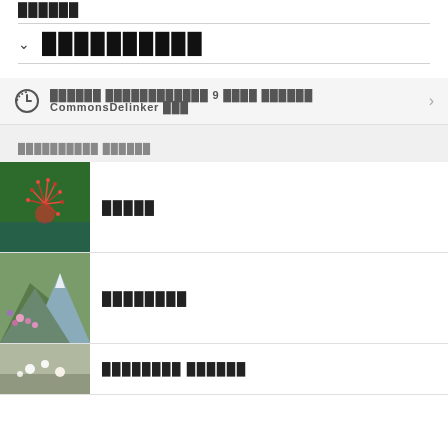██████
██████████
██████ ████████████ 9 ████ ██████ CommonsDelinker ███
██████████ ██████
[Figure (photo): Red flower with thin radiating stamens against green background]
█████
[Figure (photo): Alpine flowers on rocky mountain slope with snow-capped peaks]
████████
[Figure (photo): White small flowers on rocky surface]
████████ ██████